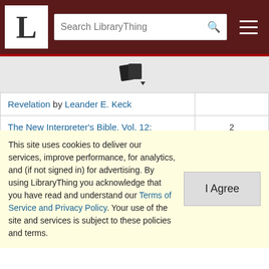[Figure (screenshot): LibraryThing navigation bar with logo 'L', search box, and hamburger menu on dark red background]
[Figure (other): Book/document icon with dropdown arrow]
| Title | Tag |
| --- | --- |
| Revelation by Leander E. Keck |  |
| The New Interpreter's Bible, Vol. 12: Hebrews; James; 1 & 2 Peter; 1, 2, & 3 John; Jude; Revelation by Leander E. Keck | 2 Peter 2 |
| The New Testament (ESV = English Standard Version) by Bible | 2 Peter 2 |
| The New Testament (King James Version) by Richard | 2 Peter |
This site uses cookies to deliver our services, improve performance, for analytics, and (if not signed in) for advertising. By using LibraryThing you acknowledge that you have read and understand our Terms of Service and Privacy Policy. Your use of the site and services is subject to these policies and terms.